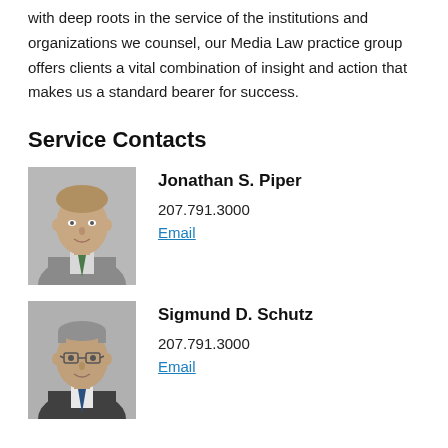with deep roots in the service of the institutions and organizations we counsel, our Media Law practice group offers clients a vital combination of insight and action that makes us a standard bearer for success.
Service Contacts
[Figure (photo): Headshot portrait of Jonathan S. Piper, a middle-aged man in a suit with a green tie]
Jonathan S. Piper
207.791.3000
Email
[Figure (photo): Headshot portrait of Sigmund D. Schutz, a middle-aged man wearing glasses in a dark suit with a blue tie]
Sigmund D. Schutz
207.791.3000
Email